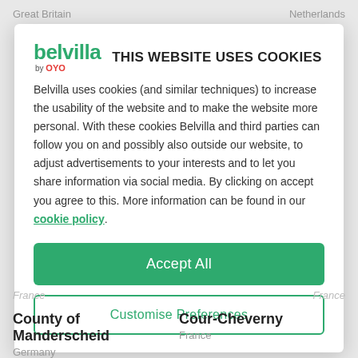Great Britain    Netherlands
[Figure (screenshot): Cookie consent modal dialog from Belvilla by OYO website. Contains logo, title 'THIS WEBSITE USES COOKIES', body text about cookie usage, Accept All button, and Customise Preferences button.]
THIS WEBSITE USES COOKIES
Belvilla uses cookies (and similar techniques) to increase the usability of the website and to make the website more personal. With these cookies Belvilla and third parties can follow you on and possibly also outside our website, to adjust advertisements to your interests and to let you share information via social media. By clicking on accept you agree to this. More information can be found in our cookie policy.
France    France
County of Manderscheid
Germany
Cour-Cheverny
France